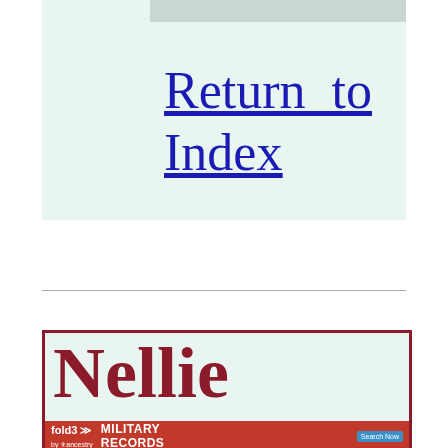Return to Index
[Figure (screenshot): Advertisement banner for fold3 Military Records by Ancestry with search button and soldier photo]
Nellie